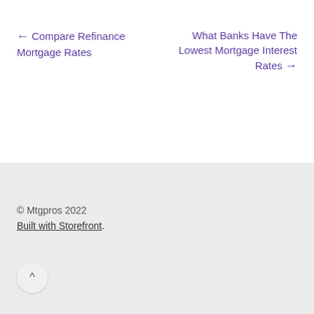← Compare Refinance Mortgage Rates
What Banks Have The Lowest Mortgage Interest Rates →
© Mtgpros 2022
Built with Storefront.